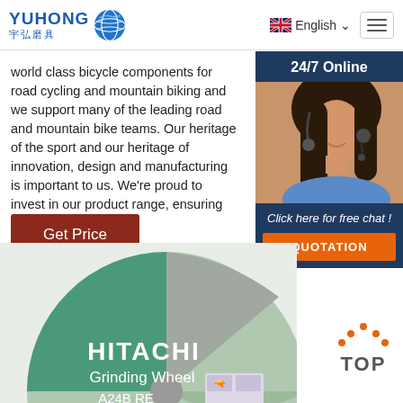YUHONG 宇弘磨具 | English | Menu
world class bicycle components for road cycling and mountain biking and we support many of the leading road and mountain bike teams. Our [love of the] sport and our heritage of innovation, design and manufacturing is important to us. We're proud to invest in our product range, ensuring that we [deliver the] very ...
Get Price
[Figure (photo): 24/7 Online chat widget with woman wearing headset, 'Click here for free chat!' text and orange QUOTATION button]
[Figure (photo): Hitachi Grinding Wheel A24B BE product image, circular green and grey grinding wheel with safety certification stamps]
[Figure (infographic): TOP navigation button with orange dots above the text]